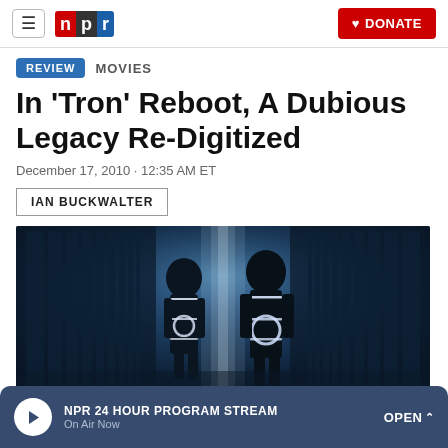NPR | DONATE
REVIEW · MOVIES
In 'Tron' Reboot, A Dubious Legacy Re-Digitized
December 17, 2010 · 12:35 AM ET
IAN BUCKWALTER
[Figure (photo): Dark cinematic still from Tron Legacy showing two silhouetted figures in glowing white-trimmed black suits facing each other in a blue-lit corridor with futuristic architecture]
NPR 24 HOUR PROGRAM STREAM · On Air Now · OPEN